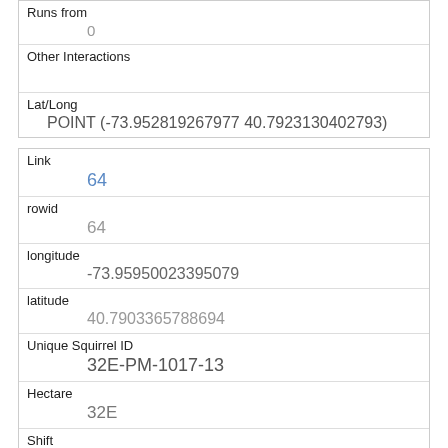| Runs from |  |
|  | 0 |
| Other Interactions |  |
| Lat/Long |  |
|  | POINT (-73.952819267977 40.7923130402793) |
| Link |  |
|  | 64 |
| rowid |  |
|  | 64 |
| longitude |  |
|  | -73.95950023395079 |
| latitude |  |
|  | 40.7903365788694 |
| Unique Squirrel ID |  |
|  | 32E-PM-1017-13 |
| Hectare |  |
|  | 32E |
| Shift |  |
|  | PM |